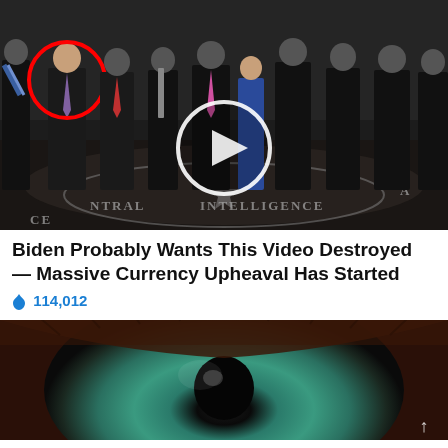[Figure (photo): Group of men in suits standing in the CIA lobby with the CIA seal on the floor. One man on the left is circled in red. A white video play button circle is overlaid in the center of the image.]
Biden Probably Wants This Video Destroyed — Massive Currency Upheaval Has Started
🔥 114,012
[Figure (photo): Extreme close-up macro photograph of a human eye showing iris and eyelashes.]